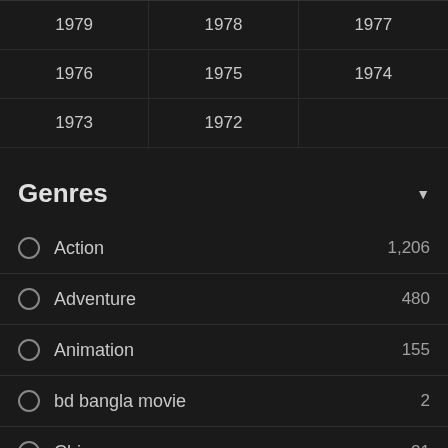| 1979 | 1978 | 1977 |
| 1976 | 1975 | 1974 |
| 1973 | 1972 |  |
Genres
Action 1,206
Adventure 480
Animation 155
bd bangla movie 2
Chinese 21
Comedy 327